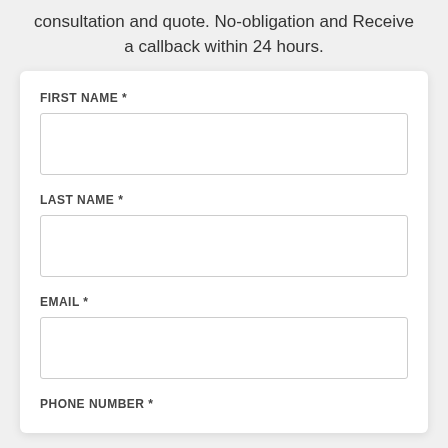consultation and quote. No-obligation and Receive a callback within 24 hours.
FIRST NAME *
LAST NAME *
EMAIL *
PHONE NUMBER *